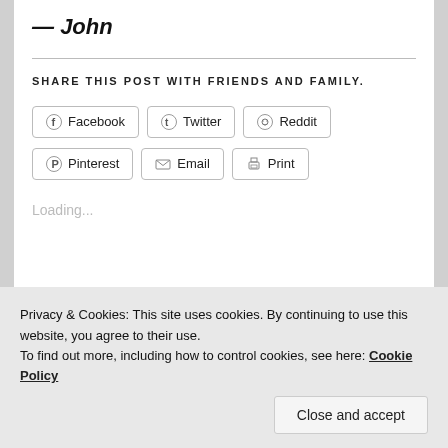— John
SHARE THIS POST WITH FRIENDS AND FAMILY.
Facebook  Twitter  Reddit  Pinterest  Email  Print
Loading...
Privacy & Cookies: This site uses cookies. By continuing to use this website, you agree to their use.
To find out more, including how to control cookies, see here: Cookie Policy
Close and accept